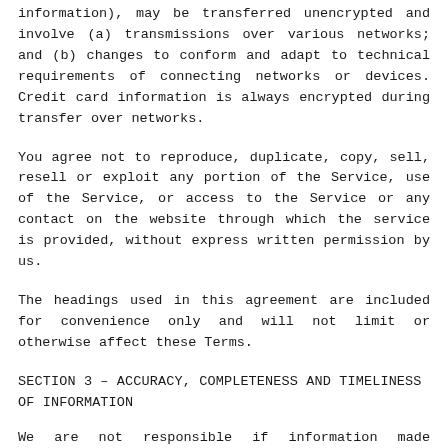information), may be transferred unencrypted and involve (a) transmissions over various networks; and (b) changes to conform and adapt to technical requirements of connecting networks or devices. Credit card information is always encrypted during transfer over networks.
You agree not to reproduce, duplicate, copy, sell, resell or exploit any portion of the Service, use of the Service, or access to the Service or any contact on the website through which the service is provided, without express written permission by us.
The headings used in this agreement are included for convenience only and will not limit or otherwise affect these Terms.
SECTION 3 – ACCURACY, COMPLETENESS AND TIMELINESS OF INFORMATION
We are not responsible if information made available on this